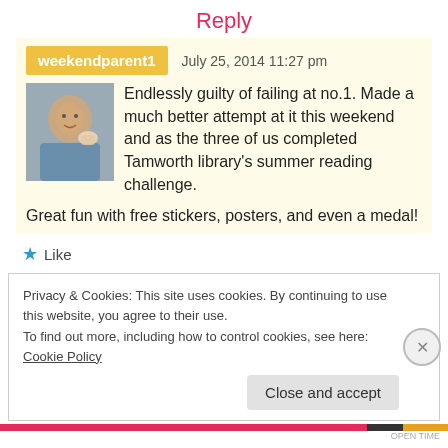Reply
weekendparent1   July 25, 2014 11:27 pm
[Figure (photo): Profile photo of a person drinking from a cup]
Endlessly guilty of failing at no.1. Made a much better attempt at it this weekend and as the three of us completed Tamworth library's summer reading challenge. Great fun with free stickers, posters, and even a medal!
★ Like
Privacy & Cookies: This site uses cookies. By continuing to use this website, you agree to their use.
To find out more, including how to control cookies, see here: Cookie Policy
Close and accept